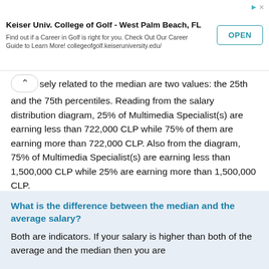[Figure (other): Advertisement banner for Keiser Univ. College of Golf - West Palm Beach, FL with an OPEN button]
...sely related to the median are two values: the 25th and the 75th percentiles. Reading from the salary distribution diagram, 25% of Multimedia Specialist(s) are earning less than 722,000 CLP while 75% of them are earning more than 722,000 CLP. Also from the diagram, 75% of Multimedia Specialist(s) are earning less than 1,500,000 CLP while 25% are earning more than 1,500,000 CLP.
What is the difference between the median and the average salary?
Both are indicators. If your salary is higher than both of the average and the median then you are